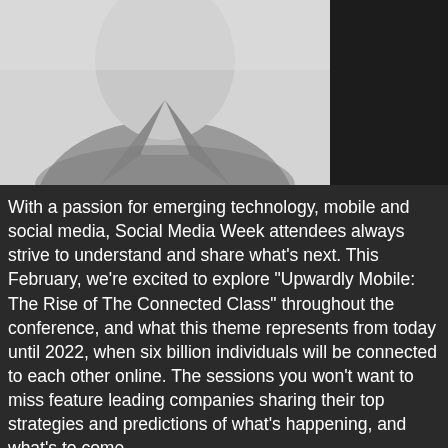[Figure (photo): Black and white photograph of a person wearing a collared polo shirt, showing from the chin/neck down to the chest area, against a light gray background. The right portion of the image area is dark/black.]
With a passion for emerging technology, mobile and social media, Social Media Week attendees always strive to understand and share what's next. This February, we're excited to explore “Upwardly Mobile: The Rise of The Connected Class” throughout the conference, and what this theme represents from today until 2022, when six billion individuals will be connected to each other online. The sessions you won't want to miss feature leading companies sharing their top strategies and predictions of what’s happening, and what’s to come.
To help you discover the best of Social Media Week New York, we asked a few of our attendees to share